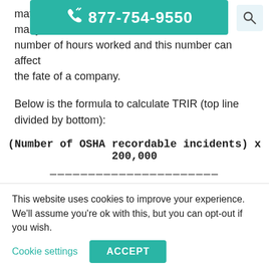mathematical computation how many OSHA recordable incidents number of hours worked and this number can affect the fate of a company.
Below is the formula to calculate TRIR (top line divided by bottom):
This website uses cookies to improve your experience. We'll assume you're ok with this, but you can opt-out if you wish.